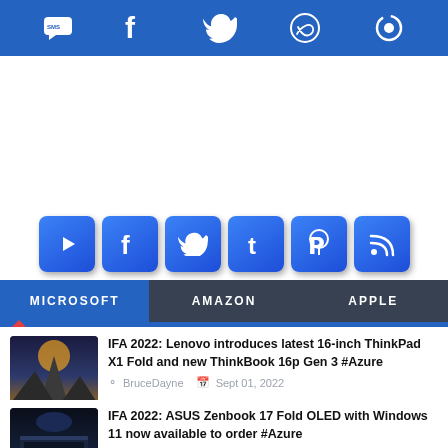[Figure (infographic): Top share bar with social icons: SMS, Facebook, Twitter, WhatsApp, and a share/sync icon on blue background]
[Figure (infographic): Row of six blue square social media buttons: YouTube, Facebook, Twitter, Tumblr, Pinterest, RSS feed]
[Figure (infographic): Tab navigation bar with three tabs: MICROSOFT (active, blue), AMAZON (dark gray), APPLE (dark gray), with red triangle indicator under MICROSOFT tab]
[Figure (photo): Thumbnail image showing a mountain/rock formation at night with dramatic lighting]
IFA 2022: Lenovo introduces latest 16-inch ThinkPad X1 Fold and new ThinkBook 16p Gen 3 #Azure
BruceDayne  Sept 01, 2022
[Figure (photo): Thumbnail image showing a laptop (ASUS Zenbook) with screen open in dark setting]
IFA 2022: ASUS Zenbook 17 Fold OLED with Windows 11 now available to order #Azure
BruceDayne  Aug 31, 2022